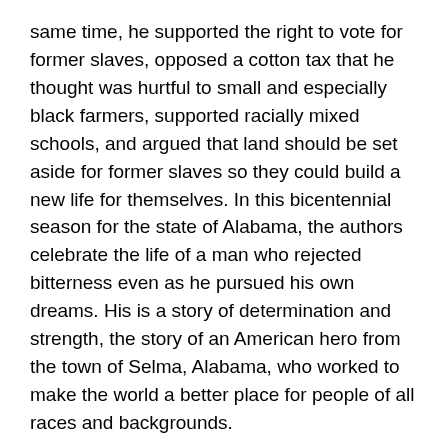same time, he supported the right to vote for former slaves, opposed a cotton tax that he thought was hurtful to small and especially black farmers, supported racially mixed schools, and argued that land should be set aside for former slaves so they could build a new life for themselves. In this bicentennial season for the state of Alabama, the authors celebrate the life of a man who rejected bitterness even as he pursued his own dreams. His is a story of determination and strength, the story of an American hero from the town of Selma, Alabama, who worked to make the world a better place for people of all races and backgrounds.
Grades 3-4
Author: Frye Gaillard, Marti Rosner
Illustrator: Jordana Haggard